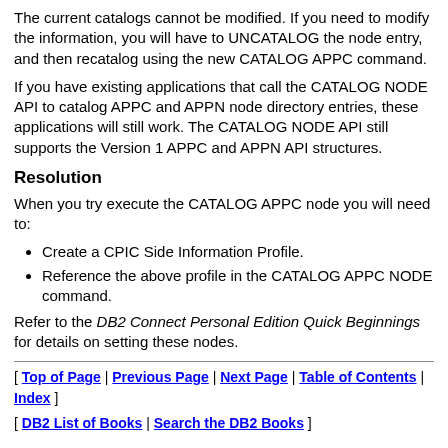The current catalogs cannot be modified. If you need to modify the information, you will have to UNCATALOG the node entry, and then recatalog using the new CATALOG APPC command.
If you have existing applications that call the CATALOG NODE API to catalog APPC and APPN node directory entries, these applications will still work. The CATALOG NODE API still supports the Version 1 APPC and APPN API structures.
Resolution
When you try execute the CATALOG APPC node you will need to:
Create a CPIC Side Information Profile.
Reference the above profile in the CATALOG APPC NODE command.
Refer to the DB2 Connect Personal Edition Quick Beginnings for details on setting these nodes.
[ Top of Page | Previous Page | Next Page | Table of Contents | Index ]
[ DB2 List of Books | Search the DB2 Books ]